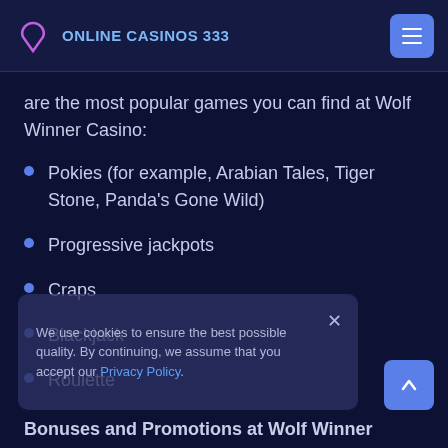ONLINE CASINOS 333
are the most popular games you can find at Wolf Winner Casino:
Pokies (for example, Arabian Tales, Tiger Stone, Panda's Gone Wild)
Progressive jackpots
Craps
Blackjack
Roulette
Baccarat
We use cookies to ensure the best possible quality. By continuing, we assume that you accept our Privacy Policy.
Bonuses and Promotions at Wolf Winner